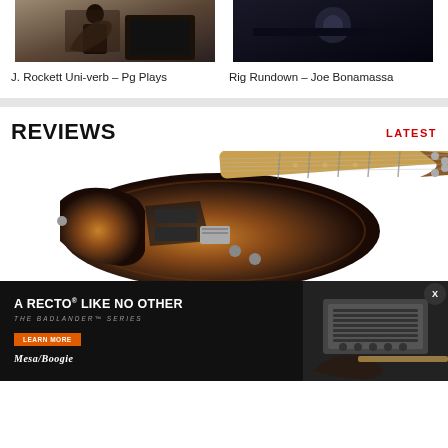[Figure (photo): Thumbnail of person playing guitar in front of amplifier]
J. Rockett Uni-verb - Pg Plays
[Figure (photo): Dark thumbnail for Rig Rundown video]
Rig Rundown - Joe Bonamassa
REVIEWS
LATEST
[Figure (photo): Electric guitar with sunburst finish and maple neck]
[Figure (photo): Mesa/Boogie Badlander Series amplifier advertisement - A RECTO LIKE NO OTHER]